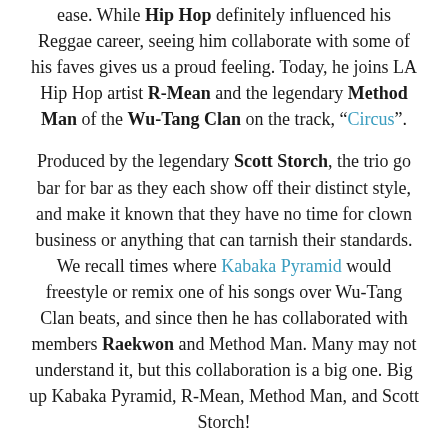ease. While Hip Hop definitely influenced his Reggae career, seeing him collaborate with some of his faves gives us a proud feeling. Today, he joins LA Hip Hop artist R-Mean and the legendary Method Man of the Wu-Tang Clan on the track, “Circus”.
Produced by the legendary Scott Storch, the trio go bar for bar as they each show off their distinct style, and make it known that they have no time for clown business or anything that can tarnish their standards. We recall times where Kabaka Pyramid would freestyle or remix one of his songs over Wu-Tang Clan beats, and since then he has collaborated with members Raekwon and Method Man. Many may not understand it, but this collaboration is a big one. Big up Kabaka Pyramid, R-Mean, Method Man, and Scott Storch!
Check out the lyric video below, and share with a friend. Show us some love/follow us on Twitter and Instagram at @13thStreetPromo.